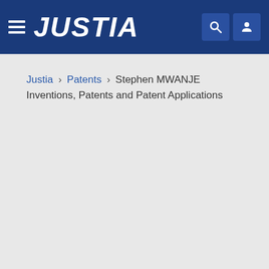JUSTIA
Justia › Patents › Stephen MWANJE Inventions, Patents and Patent Applications